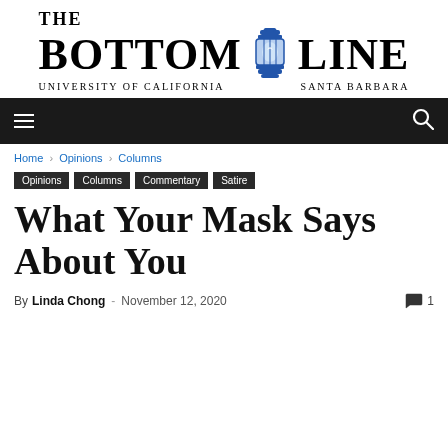[Figure (logo): The Bottom Line newspaper logo with lantern graphic and text 'University of California Santa Barbara']
Navigation bar with hamburger menu and search icon
Home › Opinions › Columns
Opinions
Columns
Commentary
Satire
What Your Mask Says About You
By Linda Chong - November 12, 2020  1